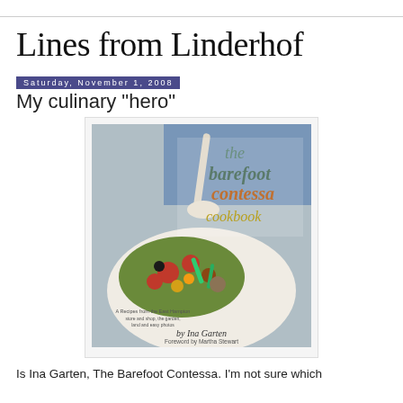Lines from Linderhof
Saturday, November 1, 2008
My culinary "hero"
[Figure (photo): Book cover of 'the barefoot contessa cookbook' by Ina Garten, Foreword by Martha Stewart. Shows a white bowl of colorful roasted vegetables with a serving spoon.]
Is Ina Garten, The Barefoot Contessa. I'm not sure which